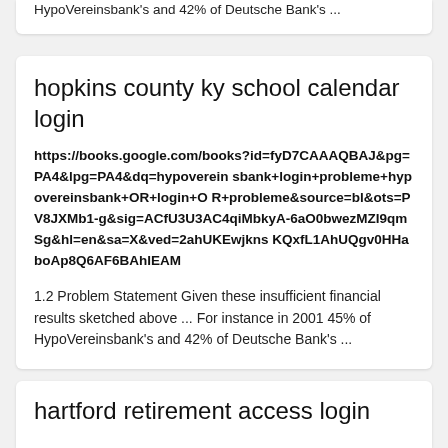HypoVereinsbank's and 42% of Deutsche Bank's ...
hopkins county ky school calendar login
https://books.google.com/books?id=fyD7CAAAQBAJ&pg=PA4&lpg=PA4&dq=hypovereinsbank+login+probleme+hypovereinsbank+OR+login+OR+probleme&source=bl&ots=PV8JXMb1-g&sig=ACfU3U3AC4qiMbkyA-6aO0bwezMZI9qmSg&hl=en&sa=X&ved=2ahUKEwjknsKQxfL1AhUQgv0HHaboAp8Q6AF6BAhIEAM
1.2 Problem Statement Given these insufficient financial results sketched above ... For instance in 2001 45% of HypoVereinsbank's and 42% of Deutsche Bank's ...
hartford retirement access login